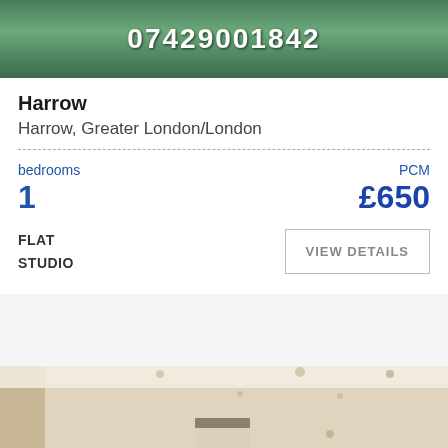[Figure (photo): Top portion of a property listing image showing a green carpet/rug area with phone number 07429001842 overlaid in white bold text]
Harrow
Harrow, Greater London/London
bedrooms
1
PCM
£650
FLAT
STUDIO
VIEW DETAILS
[Figure (photo): Interior photo of an empty room with white walls and ceiling with recessed spotlights, showing a plain white space]